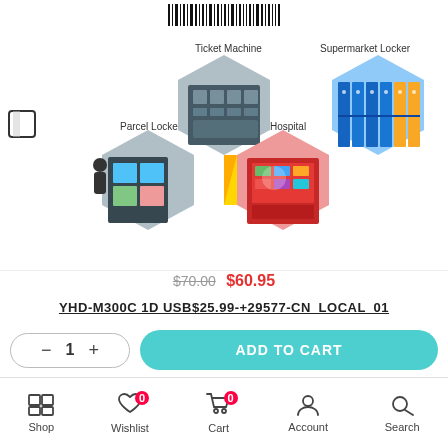[Figure (photo): E-commerce product page showing a collage of hexagonal photos: Parcel Locker (person at blue locker), Ticket Machine (row of self-service kiosks), Hospital (touchscreen kiosk with red interface), Supermarket Locker (blue/yellow locker bank). Labels for each: Parcel Locker, Ticket Machine, Hospital, Supermarket Locker. Barcode at top center.]
$70.00  $60.95
YHD-M300C 1D USB$25.99-+29577-CN_LOCAL_01
[Figure (other): Quantity selector showing minus button, 1, plus button in rounded border. Add to Cart button in teal/cyan.]
Shop  Wishlist (0)  Cart (0)  Account  Search